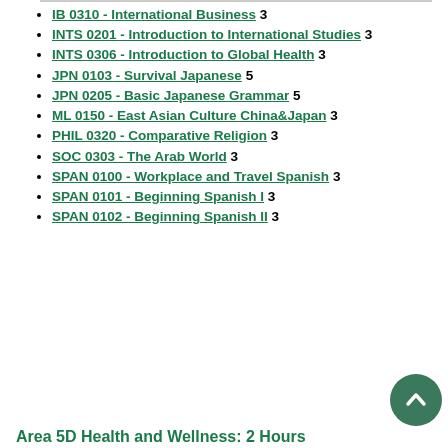IB 0310 - International Business 3
INTS 0201 - Introduction to International Studies 3
INTS 0306 - Introduction to Global Health 3
JPN 0103 - Survival Japanese 5
JPN 0205 - Basic Japanese Grammar 5
ML 0150 - East Asian Culture China&Japan 3
PHIL 0320 - Comparative Religion 3
SOC 0303 - The Arab World 3
SPAN 0100 - Workplace and Travel Spanish 3
SPAN 0101 - Beginning Spanish I 3
SPAN 0102 - Beginning Spanish II 3
Area 5D Health and Wellness: 2 Hours